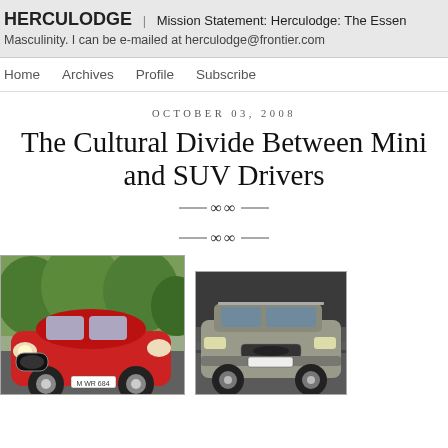HERCULODGE | Mission Statement: Herculodge: The Essen Masculinity. I can be e-mailed at herculodge@frontier.com
Home   Archives   Profile   Subscribe
OCTOBER 03, 2008
The Cultural Divide Between Mini and SUV Drivers
[Figure (photo): Photo of a red MINI Cooper car parked outdoors with trees in background]
[Figure (photo): Photo of a silver/grey SUV (Citroen C-Crosser or similar) on a road]